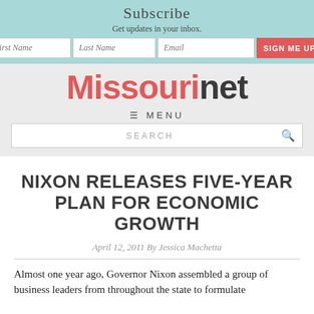Subscribe
Get updates in your inbox.
[Figure (screenshot): Email subscription form with First Name, Last Name, Email fields and a red SIGN ME UP! button]
[Figure (logo): Missourinet logo — Missouri in red, net in dark gray]
≡ MENU
SEARCH
NIXON RELEASES FIVE-YEAR PLAN FOR ECONOMIC GROWTH
April 12, 2011 By Jessica Machetta
Almost one year ago, Governor Nixon assembled a group of business leaders from throughout the state to formulate